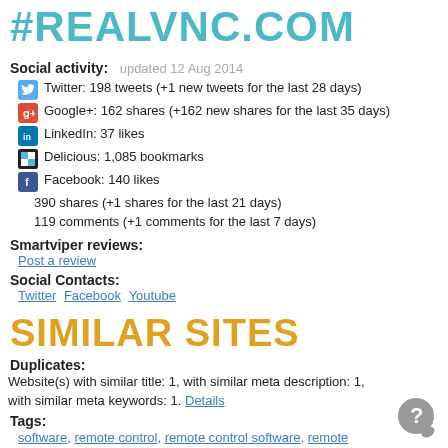#REALVNC.COM
Social activity:  updated 12 Aug 2014
Twitter: 198 tweets (+1 new tweets for the last 28 days)
Google+: 162 shares (+162 new shares for the last 35 days)
LinkedIn: 37 likes
Delicious: 1,085 bookmarks
Facebook: 140 likes
390 shares (+1 shares for the last 21 days)
119 comments (+1 comments for the last 7 days)
Smartviper reviews:
Post a review
Social Contacts:
Twitter  Facebook  Youtube
SIMILAR SITES
Duplicates:
Website(s) with similar title: 1, with similar meta description: 1, with similar meta keywords: 1. Details
Tags:
software, remote control, remote control software, remote administration, remote desktop, over 100, host free, connection...